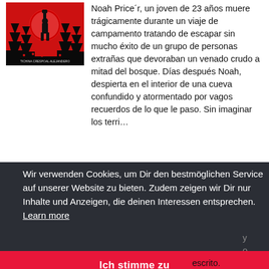[Figure (illustration): Book cover with red background, silhouette of a person raising fist, dark forest/trees at bottom, small figures scattered. Title text at bottom of cover.]
Noah Price´r, un joven de 23 años muere trágicamente durante un viaje de campamento tratando de escapar sin mucho éxito de un grupo de personas extrañas que devoraban un venado crudo a mitad del bosque. Días después Noah, despierta en el interior de una cueva confundido y atormentado por vagos recuerdos de lo que le paso. Sin imaginar los terri...
Wir verwenden Cookies, um Dir den bestmöglichen Service auf unserer Website zu bieten. Zudem zeigen wir Dir nur Inhalte und Anzeigen, die deinen Interessen entsprechen.  Learn more
Ich stimme zu
escrito.